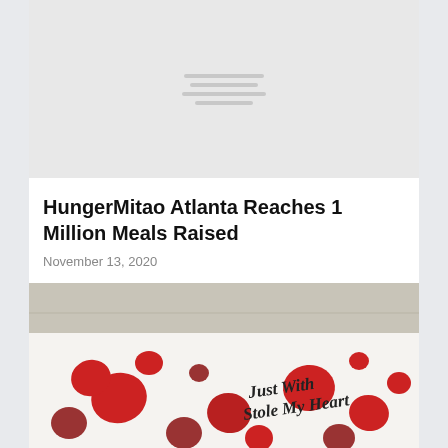[Figure (photo): Placeholder image with grey background and horizontal line decorations indicating an image loading state]
HungerMitao Atlanta Reaches 1 Million Meals Raised
November 13, 2020
[Figure (photo): A truck or wall mural decorated with red hearts and cursive text reading 'Just With Stole My Heart']